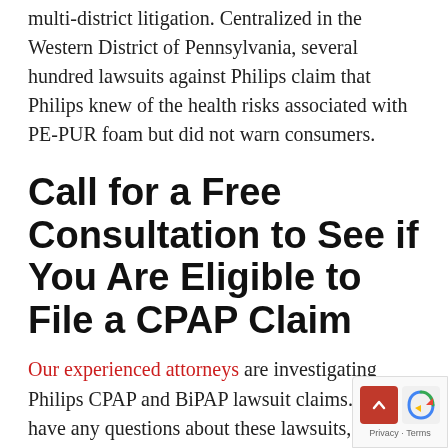multi-district litigation. Centralized in the Western District of Pennsylvania, several hundred lawsuits against Philips claim that Philips knew of the health risks associated with PE-PUR foam but did not warn consumers.
Call for a Free Consultation to See if You Are Eligible to File a CPAP Claim
Our experienced attorneys are investigating Philips CPAP and BiPAP lawsuit claims. If you have any questions about these lawsuits, please do not hesitate to contact us. We happy to answer your questions and help you